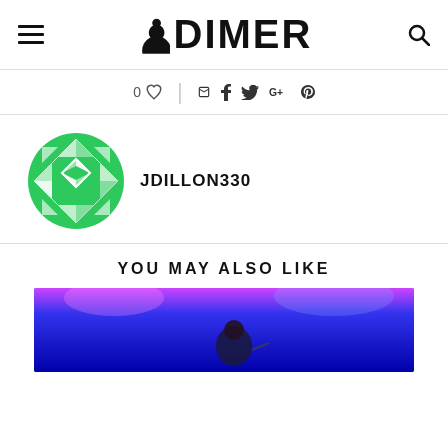DIMER
0 [like] | f t G+ p
[Figure (illustration): Green geometric circular avatar icon for user JDILLON330]
JDILLON330
YOU MAY ALSO LIKE
[Figure (photo): Photo of a performer on stage with blue/purple lighting]